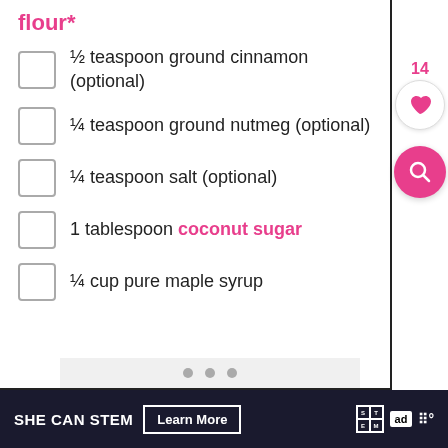flour*
½ teaspoon ground cinnamon (optional)
¼ teaspoon ground nutmeg (optional)
¼ teaspoon salt (optional)
1 tablespoon coconut sugar
¼ cup pure maple syrup
SHE CAN STEM  Learn More  ad